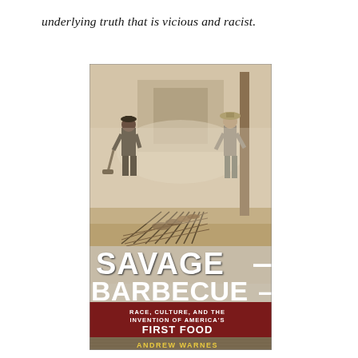underlying truth that is vicious and racist.
[Figure (illustration): Book cover of 'Savage Barbecue: Race, Culture, and the Invention of America's First Food' by Andrew Warnes. The cover features a sepia-toned historical photograph of two men tending a large outdoor barbecue pit with long rows of meat on grates. Large bold white text reads 'SAVAGE BARBECUE' overlaid on the photo. Below that is a dark red/maroon banner with white text reading 'RACE, CULTURE, AND THE INVENTION OF AMERICA'S FIRST FOOD' with 'FIRST FOOD' in large bold white. At the bottom the author's name 'ANDREW WARNES' appears in yellow/gold text.]